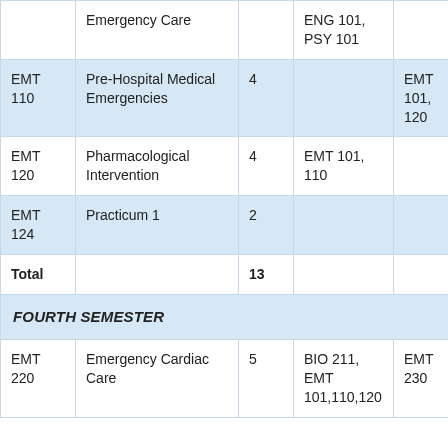| Code | Course Name | Credits | Prerequisites | Corequisites |
| --- | --- | --- | --- | --- |
|  | Emergency Care |  | ENG 101, PSY 101 |  |
| EMT 110 | Pre-Hospital Medical Emergencies | 4 |  | EMT 101, 120 |
| EMT 120 | Pharmacological Intervention | 4 | EMT 101, 110 |  |
| EMT 124 | Practicum 1 | 2 |  |  |
| Total |  | 13 |  |  |
| FOURTH SEMESTER |  |  |  |  |
| EMT 220 | Emergency Cardiac Care | 5 | BIO 211, EMT 101,110,120 | EMT 230 |